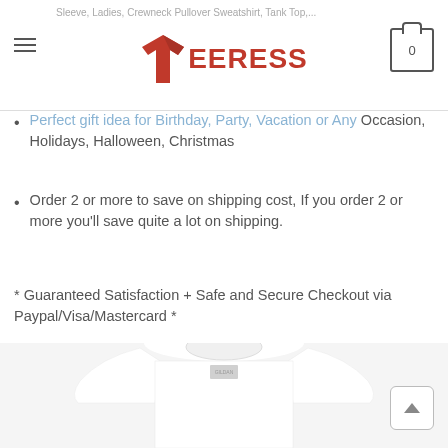Sleeve, Ladies, Crewneck Pullover Sweatshirt, Tank Top,... | TEERESS | Cart: 0
Perfect gift idea for Birthday, Party, Vacation or Any Occasion, Holidays, Halloween, Christmas
Order 2 or more to save on shipping cost, If you order 2 or more you'll save quite a lot on shipping.
* Guaranteed Satisfaction + Safe and Secure Checkout via Paypal/Visa/Mastercard *
Designed, printed, and shipped from the United States.
This product is hand made and made on-demand.
A soft tee made to go with everything in your closet.
[Figure (photo): White t-shirt product photo showing neckline and upper body]